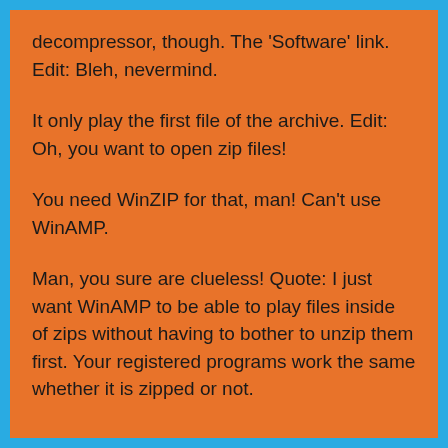decompressor, though. The 'Software' link. Edit: Bleh, nevermind.
It only play the first file of the archive. Edit: Oh, you want to open zip files!
You need WinZIP for that, man! Can't use WinAMP.
Man, you sure are clueless! Quote: I just want WinAMP to be able to play files inside of zips without having to bother to unzip them first. Your registered programs work the same whether it is zipped or not.